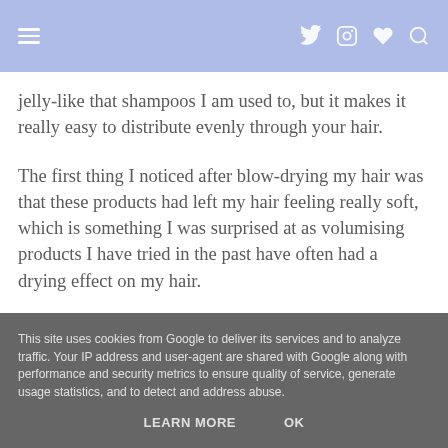Navigation bar with hamburger menu, Twitter, Instagram, heart, and search icons
jelly-like that shampoos I am used to, but it makes it really easy to distribute evenly through your hair.
The first thing I noticed after blow-drying my hair was that these products had left my hair feeling really soft, which is something I was surprised at as volumising products I have tried in the past have often had a drying effect on my hair.
The big question: did it help to inject volume into my hair? Of course, it isn't a miracle worker and some gentle teasing and strategic blow-drying was
This site uses cookies from Google to deliver its services and to analyze traffic. Your IP address and user-agent are shared with Google along with performance and security metrics to ensure quality of service, generate usage statistics, and to detect and address abuse.
LEARN MORE    OK